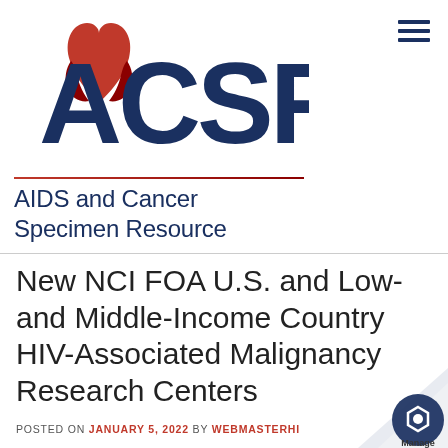[Figure (logo): ACSR logo with ribbon symbol and text 'AIDS and Cancer Specimen Resource']
New NCI FOA U.S. and Low- and Middle-Income Country HIV-Associated Malignancy Research Centers
POSTED ON JANUARY 5, 2022 BY WEBMASTERHI[LL]